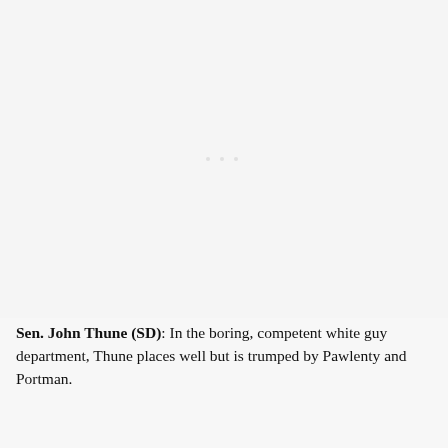[Figure (photo): A mostly blank/white image area with very faint dots near the center, representing a placeholder or nearly blank photo.]
Sen. John Thune (SD): In the boring, competent white guy department, Thune places well but is trumped by Pawlenty and Portman.